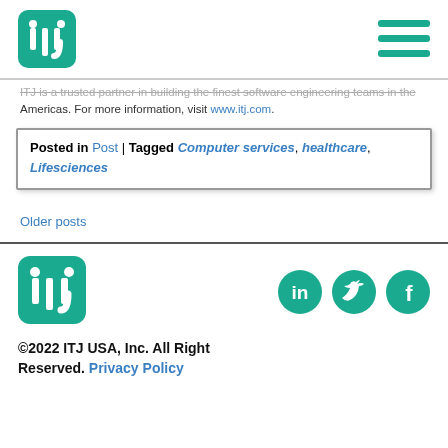[Figure (logo): ITJ logo — teal rounded square with white 'itj' letters]
[Figure (other): Hamburger menu icon — three teal horizontal bars]
ITJ is a trusted partner in building the finest software engineering teams in the Americas. For more information, visit www.itj.com.
Posted in Post | Tagged Computer services, healthcare, Lifesciences
Older posts
[Figure (logo): ITJ logo — teal rounded square with white 'itj' letters (footer)]
[Figure (other): Social media icons: LinkedIn, Twitter, Facebook — teal circles]
©2022 ITJ USA, Inc. All Right Reserved. Privacy Policy